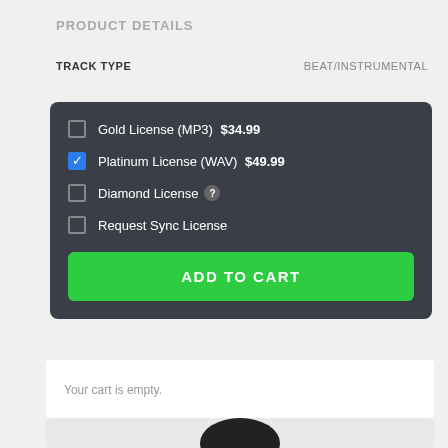PRODUCT DETAILS
TRACK TYPE    BEAT/INSTRUMENTAL
[Figure (screenshot): License selection widget with dark background showing: unchecked 'Gold License (MP3) $34.99', checked (blue) 'Platinum License (WAV) $49.99', unchecked 'Diamond License' with help icon, unchecked 'Request Sync License', and a green 'ADD TO CART' button.]
Your cart is empty.
[Figure (photo): Partial top of a dark circular object visible at the bottom of the page.]